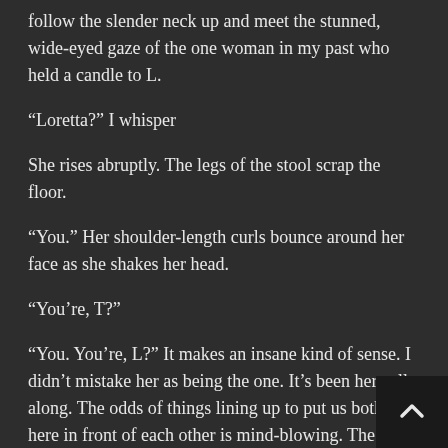follow the slender neck up and meet the stunned, wide-eyed gaze of the one woman in my past who held a candle to L.
“Loretta?” I whisper
She rises abruptly. The legs of the stool scrap the floor.
“You.” Her shoulder-length curls bounce around her face as she shakes her head.
“You’re, T?”
“You. You’re, L?” It makes an insane kind of sense. I didn’t mistake her as being the one. It’s been here all along. The odds of things lining up to put us both here in front of each other is mind-blowing. The one-woman etched into my very soul is in front of me a vision in yellow and